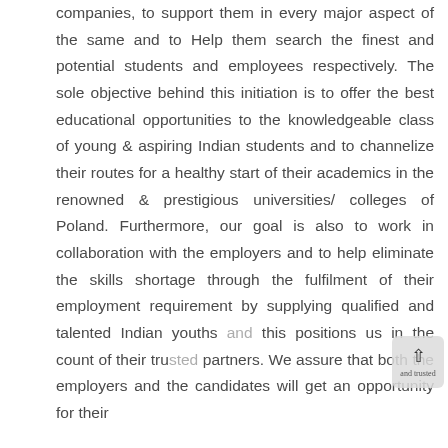companies, to support them in every major aspect of the same and to Help them search the finest and potential students and employees respectively. The sole objective behind this initiation is to offer the best educational opportunities to the knowledgeable class of young & aspiring Indian students and to channelize their routes for a healthy start of their academics in the renowned & prestigious universities/ colleges of Poland. Furthermore, our goal is also to work in collaboration with the employers and to help eliminate the skills shortage through the fulfilment of their employment requirement by supplying qualified and talented Indian youths and this positions us in the count of their trusted partners. We assure that both the employers and the candidates will get an opportunity for their